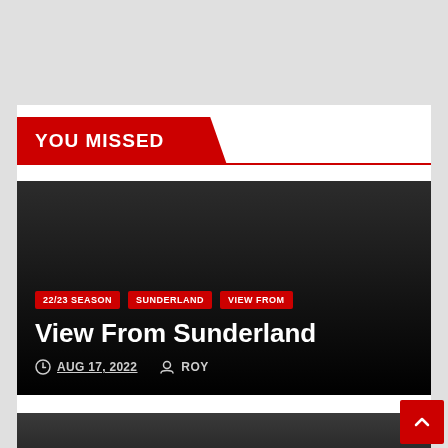YOU MISSED
View From Sunderland
22/23 SEASON  SUNDERLAND  VIEW FROM
AUG 17, 2022  ROY
[Figure (other): Dark article card background image (second article, partial)]